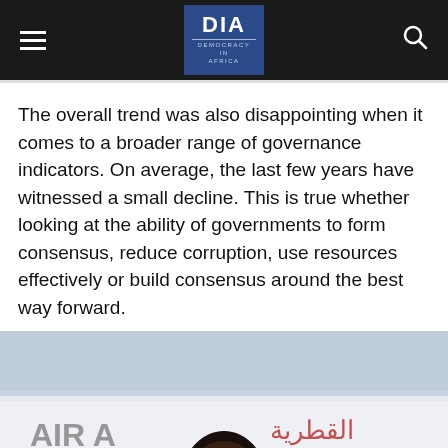DIA – Democracy in Africa
The overall trend was also disappointing when it comes to a broader range of governance indicators. On average, the last few years have witnessed a small decline. This is true whether looking at the ability of governments to form consensus, reduce corruption, use resources effectively or build consensus around the best way forward.
[Figure (photo): A man wearing glasses standing in front of an aircraft with visible Arabic text and 'AIR A' lettering on the fuselage. The photo appears to show a political figure at an airport.]